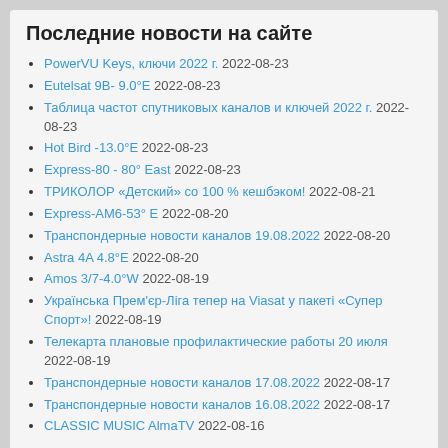Последние новости на сайте
PowerVU Keys, ключи 2022 г. 2022-08-23
Eutelsat 9B- 9.0°E 2022-08-23
Таблица частот спутниковых каналов и ключей 2022 г. 2022-08-23
Hot Bird -13.0°E 2022-08-23
Express-80 - 80° East 2022-08-23
ТРИКОЛОР «Детский» со 100 % кешбэком! 2022-08-21
Express-AM6-53° E 2022-08-20
Транспондерные новости каналов 19.08.2022 2022-08-20
Astra 4A 4.8°E 2022-08-20
Amos 3/7-4.0°W 2022-08-19
Українська Прем'єр-Ліга тепер на Viasat у пакеті «Супер Спорт»! 2022-08-19
Телекарта плановые профилактические работы 20 июля 2022-08-19
Транспондерные новости каналов 17.08.2022 2022-08-17
Транспондерные новости каналов 16.08.2022 2022-08-17
CLASSIC MUSIC AlmaTV 2022-08-16